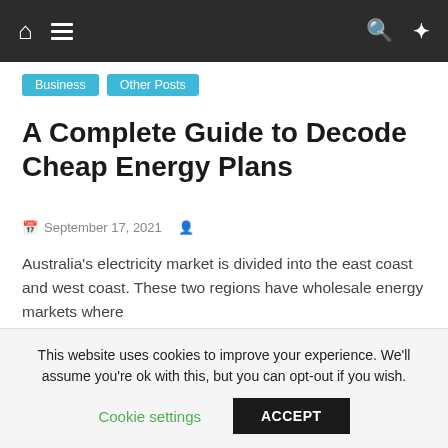Navigation bar with home, menu, search, and shuffle icons
Business  Other Posts
A Complete Guide to Decode Cheap Energy Plans
September 17, 2021
Australia's electricity market is divided into the east coast and west coast. These two regions have wholesale energy markets where
Share The Madrid Metropolitan: The only Madrid English language newspaper
This website uses cookies to improve your experience. We'll assume you're ok with this, but you can opt-out if you wish. Cookie settings ACCEPT